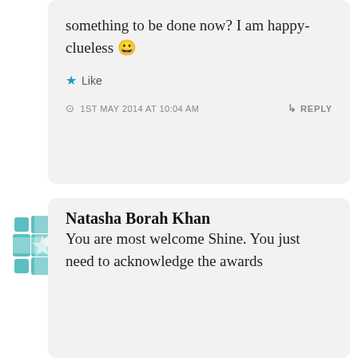something to be done now? I am happy-clueless 😀
★ Like
1ST MAY 2014 AT 10:04 AM   ↳ REPLY
[Figure (logo): Teal/turquoise decorative cross/flower geometric avatar icon]
Natasha Borah Khan
You are most welcome Shine. You just need to acknowledge the awards